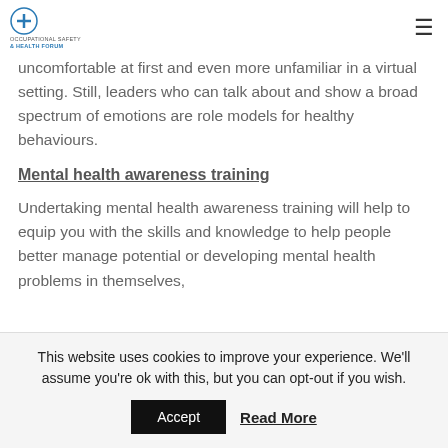Occupational Safety & Health Forum [logo + hamburger menu]
uncomfortable at first and even more unfamiliar in a virtual setting. Still, leaders who can talk about and show a broad spectrum of emotions are role models for healthy behaviours.
Mental health awareness training
Undertaking mental health awareness training will help to equip you with the skills and knowledge to help people better manage potential or developing mental health problems in themselves,
This website uses cookies to improve your experience. We'll assume you're ok with this, but you can opt-out if you wish.
Accept   Read More